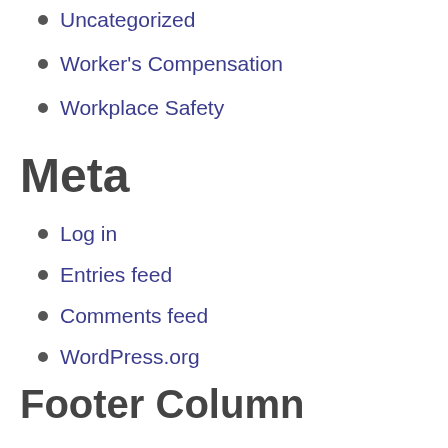Uncategorized
Worker's Compensation
Workplace Safety
Meta
Log in
Entries feed
Comments feed
WordPress.org
Footer Column
aoeu
aoeu
aoeu
aoeu